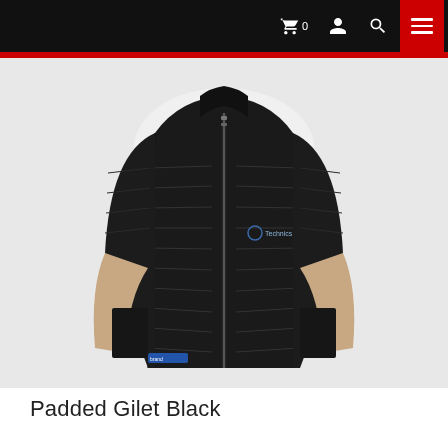Navigation header with cart, user, search icons and menu button
[Figure (photo): A man wearing a black padded gilet/vest over a white t-shirt, hands in pockets, photographed from chest down, no face visible.]
Padded Gilet Black